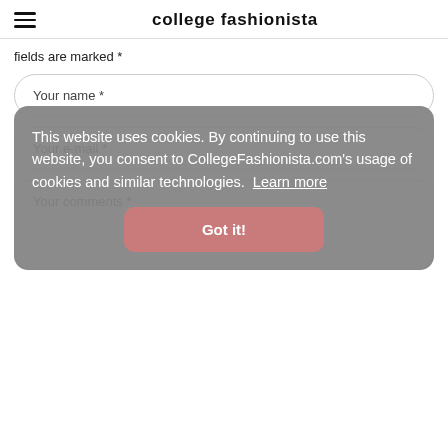college fashionista
fields are marked *
Your name *
Your e-mail *
Your comments *
This website uses cookies. By continuing to use this website, you consent to CollegeFashionista.com's usage of cookies and similar technologies. Learn more
Got it!